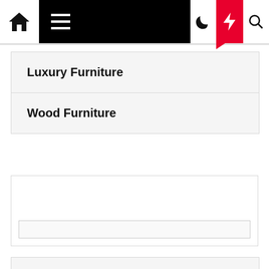Navigation bar with home icon, hamburger menu, moon icon, lightning bolt (red), search icon
Luxury Furniture
Wood Furniture
[Figure (other): Empty widget/ad placeholder box with a white input bar at the bottom]
Home Improvement News
Home Decor Ideas
Home and Design
Luxury Furniture